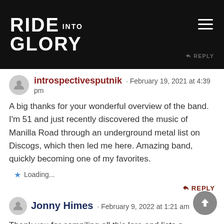RIDE INTO GLORY
introspectivesputnik · February 19, 2021 at 4:39 pm
A big thanks for your wonderful overview of the band. I'm 51 and just recently discovered the music of Manilla Road through an underground metal list on Discogs, which then led me here. Amazing band, quickly becoming one of my favorites.
Loading...
REPLY
Jonny Himes · February 9, 2022 at 1:21 am
Thank you for compiling all this lore and lists o essentials on Manilla Road. I found this band a